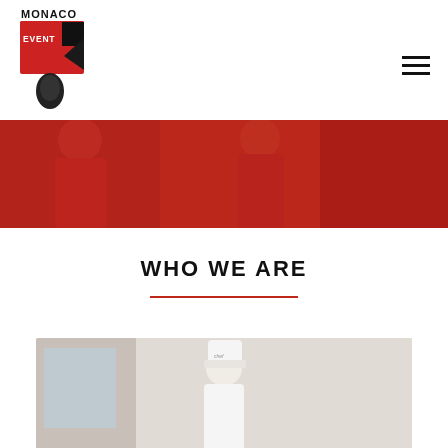[Figure (logo): Monaco F1 Event logo with red and black F1-style graphic]
[Figure (photo): Banner photo showing people in red uniforms at an event]
WHO WE ARE
[Figure (photo): Photo of a chef in white uniform and tall white hat]